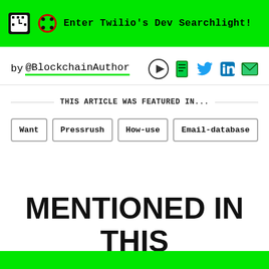Enter Twilio's Dev Searchlight!
by @BlockchainAuthor
THIS ARTICLE WAS FEATURED IN...
Want
Pressrush
How-use
Email-database
MENTIONED IN THIS STORY